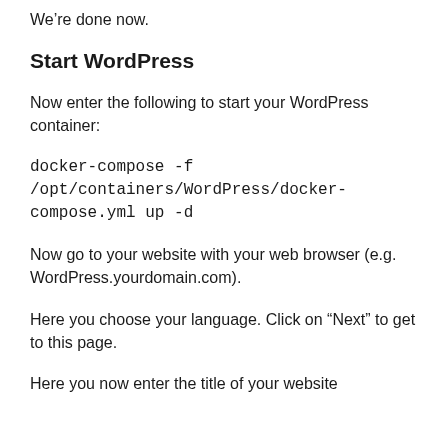We're done now.
Start WordPress
Now enter the following to start your WordPress container:
docker-compose -f /opt/containers/WordPress/docker-compose.yml up -d
Now go to your website with your web browser (e.g. WordPress.yourdomain.com).
Here you choose your language. Click on “Next” to get to this page.
Here you now enter the title of your website